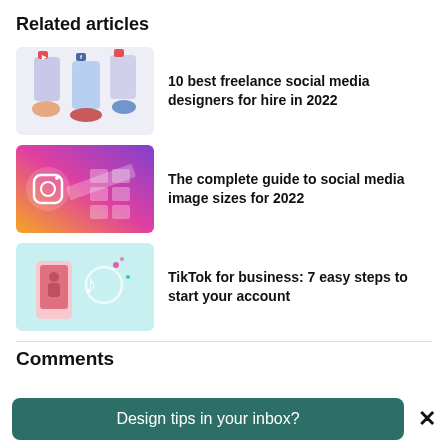Related articles
[Figure (illustration): Illustration of hands holding smartphones with social media app icons]
10 best freelance social media designers for hire in 2022
[Figure (illustration): Colorful gradient illustration showing Instagram logo and image layout grid with a ruler]
The complete guide to social media image sizes for 2022
[Figure (illustration): Illustration of a hand holding a phone with TikTok logo on light blue background]
TikTok for business: 7 easy steps to start your account
Comments
Design tips in your inbox?